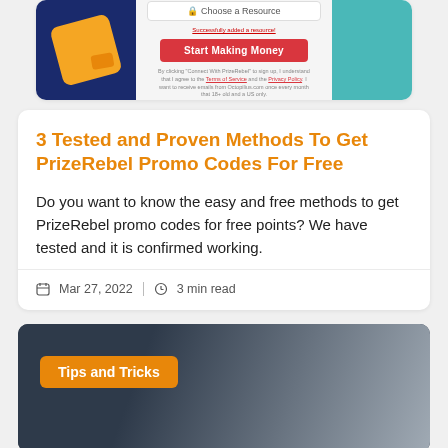[Figure (screenshot): Screenshot of a PrizeRebel signup/referral page with a red 'Start Making Money' button, left blue panel with orange diamond icon, right teal panel]
3 Tested and Proven Methods To Get PrizeRebel Promo Codes For Free
Do you want to know the easy and free methods to get PrizeRebel promo codes for free points? We have tested and it is confirmed working.
Mar 27, 2022  |  3 min read
[Figure (photo): Dark background photo of a person, with an orange 'Tips and Tricks' badge overlay]